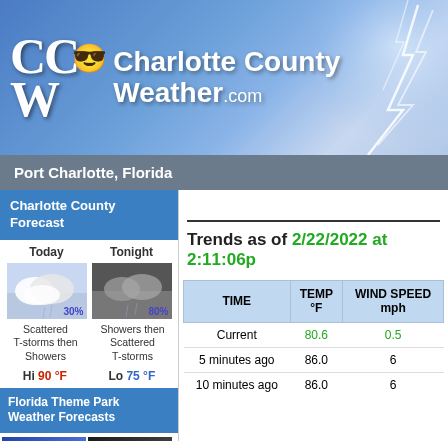[Figure (logo): Charlotte County Weather .com banner logo with sun icon and lightning in background]
Port Charlotte, Florida
Charlotte County Forecast
| Today | Tonight |
| --- | --- |
| Scattered T-storms then Showers | Showers then Scattered T-storms |
| Hi 90 °F | Lo 75 °F |
Florida Theme Park Weather Forecasts
Trends as of 2/22/2022 at 2:11:06p
| TIME | TEMP °F | WIND SPEED mph |
| --- | --- | --- |
| Current | 80.6 | 0.5 |
| 5 minutes ago | 86.0 | 6 |
| 10 minutes ago | 86.0 | 6 |